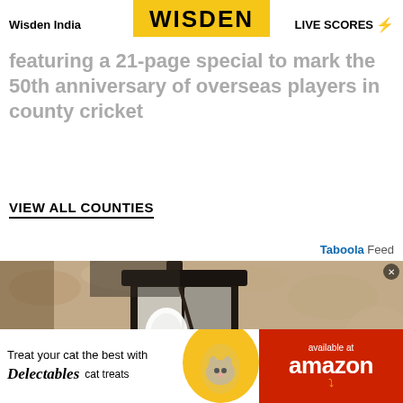Wisden India | WISDEN | LIVE SCORES
featuring a 21-page special to mark the 50th anniversary of overseas players in county cricket
VIEW ALL COUNTIES
Taboola Feed
[Figure (photo): Close-up photo of a black outdoor wall lantern with a white light bulb, mounted on a textured beige stucco wall]
[Figure (photo): Advertisement banner: Treat your cat the best with Delectables cat treats, available at amazon]